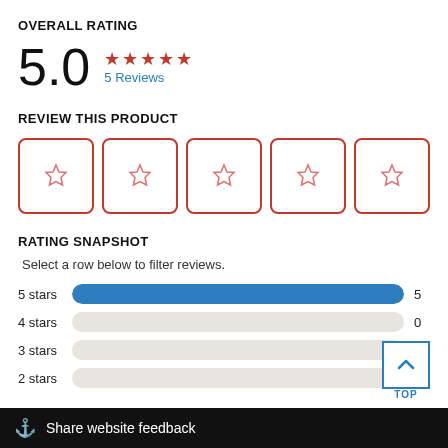OVERALL RATING
5.0 ★★★★★ 5 Reviews
REVIEW THIS PRODUCT
[Figure (other): Five empty star rating boxes with red borders for user input]
RATING SNAPSHOT
Select a row below to filter reviews.
[Figure (bar-chart): Rating Snapshot]
Share website feedback